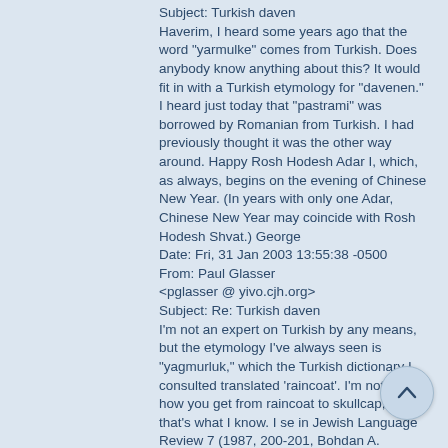Subject: Turkish daven
Haverim, I heard some years ago that the word "yarmulke" comes from Turkish. Does anybody know anything about this? It would fit in with a Turkish etymology for "davenen." I heard just today that "pastrami" was borrowed by Romanian from Turkish. I had previously thought it was the other way around. Happy Rosh Hodesh Adar I, which, as always, begins on the evening of Chinese New Year. (In years with only one Adar, Chinese New Year may coincide with Rosh Hodesh Shvat.) George
Date: Fri, 31 Jan 2003 13:55:38 -0500
From: Paul Glasser <pglasser @ yivo.cjh.org>
Subject: Re: Turkish daven
I'm not an expert on Turkish by any means, but the etymology I've always seen is "yagmurluk," which the Turkish dictionary I consulted translated 'raincoat'. I'm not sure how you get from raincoat to skullcap, but that's what I know. I se... in Jewish Language Review 7 (1987, 200-201, Bohdan A. Struminsky proposed a different etymology, "davniy"...